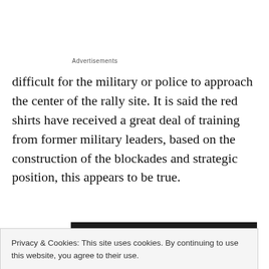Advertisements
difficult for the military or police to approach the center of the rally site. It is said the red shirts have received a great deal of training from former military leaders, based on the construction of the blockades and strategic position, this appears to be true.
[Figure (photo): Photo of a sign reading 'TO SILOM COMPLEX SHOPPING PLAZA' in white text on a dark background]
Privacy & Cookies: This site uses cookies. By continuing to use this website, you agree to their use.
To find out more, including how to control cookies, see here: Cookie Policy